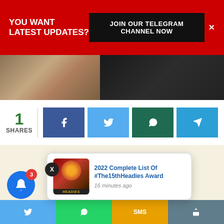YOU WANT LATEST UPDATES?
JOIN OUR TELEGRAM CHANNEL NOW
[Figure (photo): Two people partially visible in photo strip]
1 SHARES
[Figure (infographic): Social share buttons: Facebook, Twitter, WhatsApp, Telegram]
[Figure (infographic): Notification popup card: 2022 Complete List Of #The15thHeadies Award - 16 minutes ago]
2022 Complete List Of #The15thHeadies Award
16 minutes ago
[Figure (infographic): Bottom social share bar with Twitter, WhatsApp, SMS, Share icons]